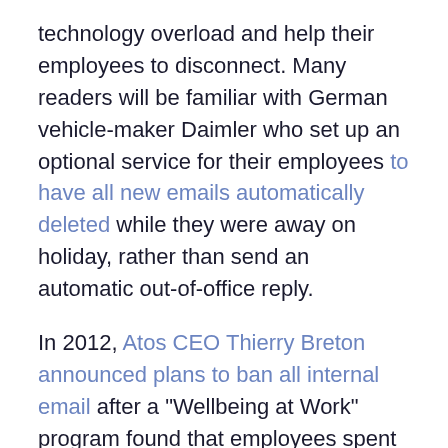technology overload and help their employees to disconnect. Many readers will be familiar with German vehicle-maker Daimler who set up an optional service for their employees to have all new emails automatically deleted while they were away on holiday, rather than send an automatic out-of-office reply.
In 2012, Atos CEO Thierry Breton announced plans to ban all internal email after a "Wellbeing at Work" program found that employees spent 15 to 20 hours a week answering and deleting emails. In January 2017, French authorities launched the 'right to disconnect' law to give employees the legal right to avoid work emails outside working hours.
The four suggestions we have outlined above are